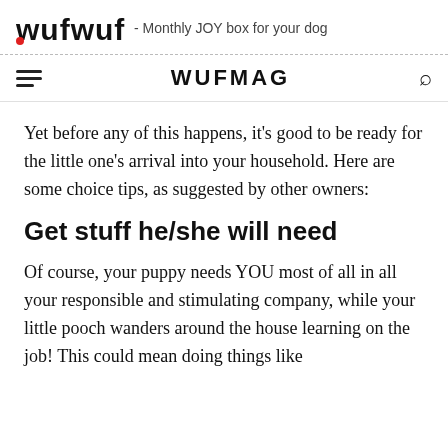wufwuf - Monthly JOY box for your dog
WUFMAG
Yet before any of this happens, it's good to be ready for the little one's arrival into your household. Here are some choice tips, as suggested by other owners:
Get stuff he/she will need
Of course, your puppy needs YOU most of all in all your responsible and stimulating company, while your little pooch wanders around the house learning on the job! This could mean doing things like